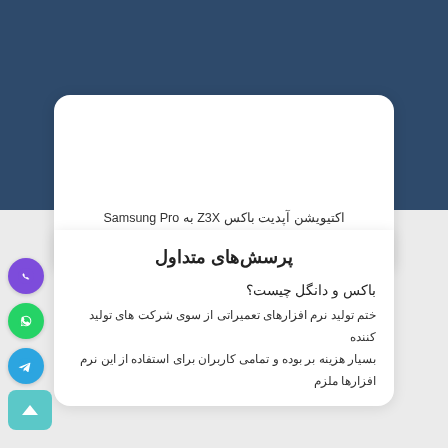اکتیویشن آپدیت باکس Z3X به Samsung Pro
۱٬۷۸۹٬۱۰۰ تومان
پرسش‌های متداول
باکس و دانگل چیست؟
ختم تولید نرم افزارهای تعمیراتی از سوی شرکت های تولید کننده
بسیار هزینه بر بوده و تمامی کاربران برای استفاده از این نرم افزارها ملزم